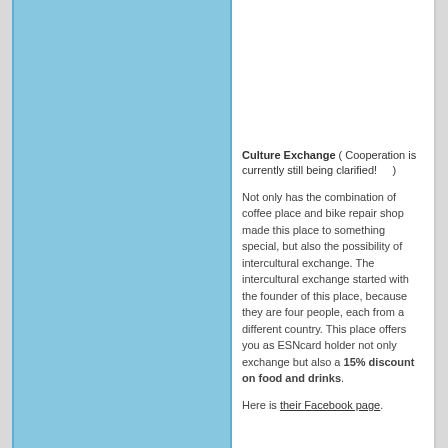Culture Exchange ( Cooperation is currently still being clarified!     )
Not only has the combination of coffee place and bike repair shop made this place to something special, but also the possibility of intercultural exchange. The intercultural exchange started with the founder of this place, because they are four people, each from a different country. This place offers you as ESNcard holder not only exchange but also a 15% discount on food and drinks.
Here is their Facebook page.